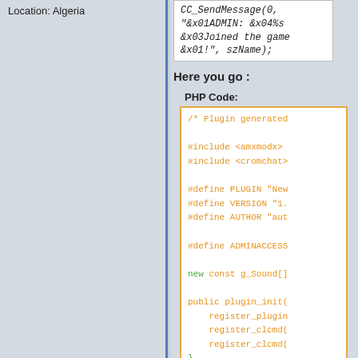Location: Algeria
CC_SendMessage(0, "&x01ADMIN: &x04%s &x03Joined the game &x01!", szName);
Here you go :
PHP Code:
/* Plugin generated
#include <amxmodx>
#include <cromchat>

#define PLUGIN "New
#define VERSION "1.
#define AUTHOR "aut

#define ADMINACCESS

new const g_Sound[]

public plugin_init(
    register_plugin
    register_clcmd(
    register_clcmd(
}